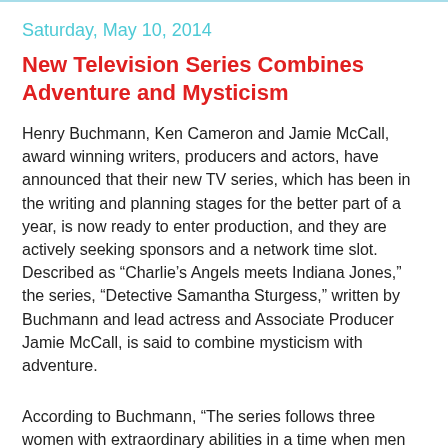Saturday, May 10, 2014
New Television Series Combines Adventure and Mysticism
Henry Buchmann, Ken Cameron and Jamie McCall, award winning writers, producers and actors, have announced that their new TV series, which has been in the writing and planning stages for the better part of a year, is now ready to enter production, and they are actively seeking sponsors and a network time slot. Described as “Charlie’s Angels meets Indiana Jones,” the series, “Detective Samantha Sturgess,” written by Buchmann and lead actress and Associate Producer Jamie McCall, is said to combine mysticism with adventure.
According to Buchmann, “The series follows three women with extraordinary abilities in a time when men ruled the world. Detective Sturgess and her cohorts are beauties that team up and use their knowledge of Shaolin Kung Fu